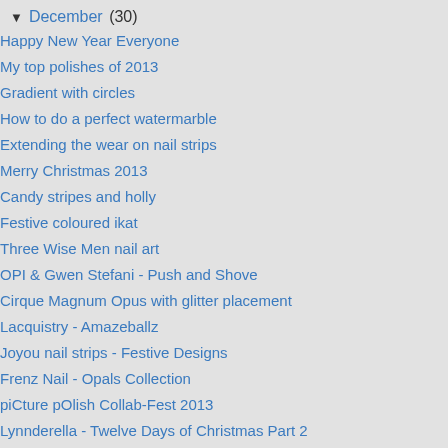▼ December (30)
Happy New Year Everyone
My top polishes of 2013
Gradient with circles
How to do a perfect watermarble
Extending the wear on nail strips
Merry Christmas 2013
Candy stripes and holly
Festive coloured ikat
Three Wise Men nail art
OPI & Gwen Stefani - Push and Shove
Cirque Magnum Opus with glitter placement
Lacquistry - Amazeballz
Joyou nail strips - Festive Designs
Frenz Nail - Opals Collection
piCture pOlish Collab-Fest 2013
Lynnderella - Twelve Days of Christmas Part 2
Lynnderella - Twelve Days of Christmas Part 1
Orly Blush Collection - Flawless Flush and Naked C...
OPI Pure Lacquer Nail Apps - review and wear test